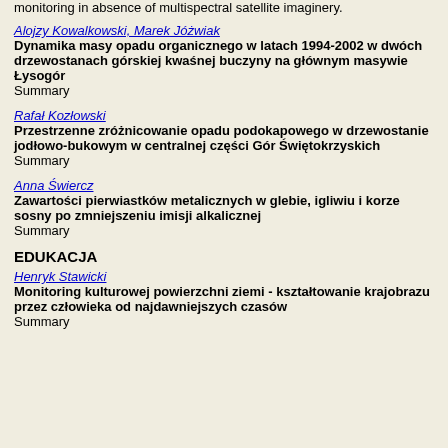monitoring in absence of multispectral satellite imaginery.
Alojzy Kowalkowski, Marek Jóżwiak
Dynamika masy opadu organicznego w latach 1994-2002 w dwóch drzewostanach górskiej kwaśnej buczyny na głównym masywie Łysogór
Summary
Rafał Kozłowski
Przestrzenne zróżnicowanie opadu podokapowego w drzewostanie jodłowo-bukowym w centralnej części Gór Świętokrzyskich
Summary
Anna Świercz
Zawartości pierwiastków metalicznych w glebie, igliwiu i korze sosny po zmniejszeniu imisji alkalicznej
Summary
EDUKACJA
Henryk Stawicki
Monitoring kulturowej powierzchni ziemi - kształtowanie krajobrazu przez człowieka od najdawniejszych czasów
Summary